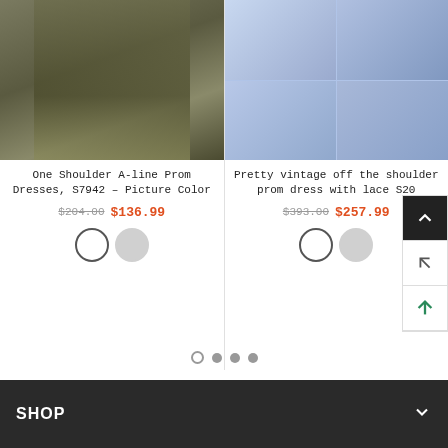[Figure (photo): Olive green one-shoulder prom dress on a model standing near white balustrade]
[Figure (photo): Collage of four images showing a light blue ball gown prom dress with lace and floral applique]
One Shoulder A-line Prom Dresses, S7942 – Picture Color
$204.00  $136.99
Pretty vintage off the shoulder prom dress with lace S20
$393.00  $257.99
SHOP